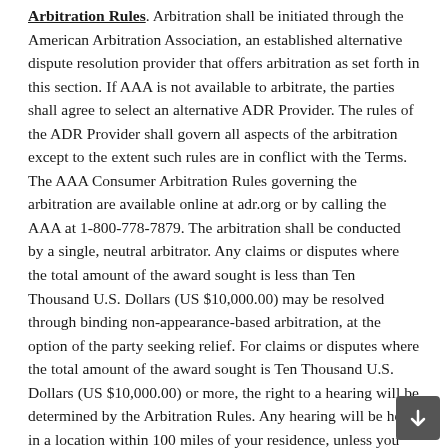Arbitration Rules. Arbitration shall be initiated through the American Arbitration Association, an established alternative dispute resolution provider that offers arbitration as set forth in this section. If AAA is not available to arbitrate, the parties shall agree to select an alternative ADR Provider. The rules of the ADR Provider shall govern all aspects of the arbitration except to the extent such rules are in conflict with the Terms. The AAA Consumer Arbitration Rules governing the arbitration are available online at adr.org or by calling the AAA at 1-800-778-7879. The arbitration shall be conducted by a single, neutral arbitrator. Any claims or disputes where the total amount of the award sought is less than Ten Thousand U.S. Dollars (US $10,000.00) may be resolved through binding non-appearance-based arbitration, at the option of the party seeking relief. For claims or disputes where the total amount of the award sought is Ten Thousand U.S. Dollars (US $10,000.00) or more, the right to a hearing will be determined by the Arbitration Rules. Any hearing will be held in a location within 100 miles of your residence, unless you reside outside of the United States, and unless the parties agree otherwise. If you reside outside of the U.S., the arbitrator shall give the